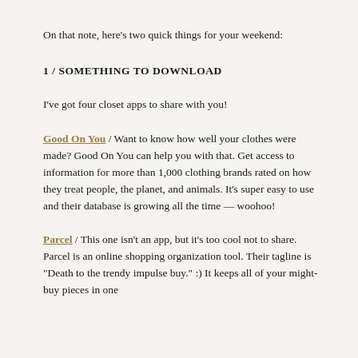On that note, here's two quick things for your weekend:
1 /  SOMETHING TO DOWNLOAD
I've got four closet apps to share with you!
Good On You / Want to know how well your clothes were made? Good On You can help you with that. Get access to information for more than 1,000 clothing brands rated on how they treat people, the planet, and animals. It's super easy to use and their database is growing all the time — woohoo!
Parcel / This one isn't an app, but it's too cool not to share. Parcel is an online shopping organization tool. Their tagline is "Death to the trendy impulse buy." :) It keeps all of your might-buy pieces in one